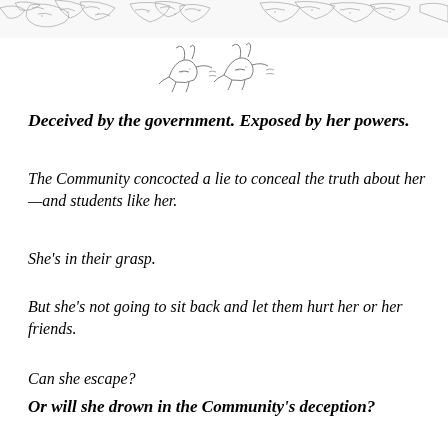[Figure (illustration): Decorative black and white illustration of animals/foliage running across the top of the page, partially cropped]
[Figure (illustration): Small centered black and white illustration of running animals (possibly rabbits or hares) in the middle upper area]
Deceived by the government. Exposed by her powers.
The Community concocted a lie to conceal the truth about her—and students like her.
She's in their grasp.
But she's not going to sit back and let them hurt her or her friends.
Can she escape?
Or will she drown in the Community's deception?
Beginning sentence at bottom is cut off